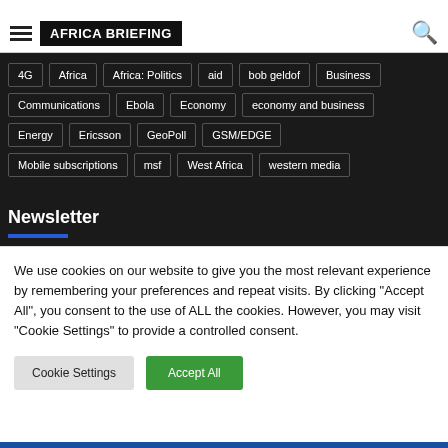Tags | Africa Briefing
Tags
4G
Africa
Africa: Politics
aid
bob geldof
Business
Communications
Ebola
Economy
economy and business
Energy
Ericsson
GeoPoll
GSM/EDGE
Mobile subscriptions
msf
West Africa
western media
Newsletter
We use cookies on our website to give you the most relevant experience by remembering your preferences and repeat visits. By clicking “Accept All”, you consent to the use of ALL the cookies. However, you may visit "Cookie Settings" to provide a controlled consent.
Cookie Settings | Accept All